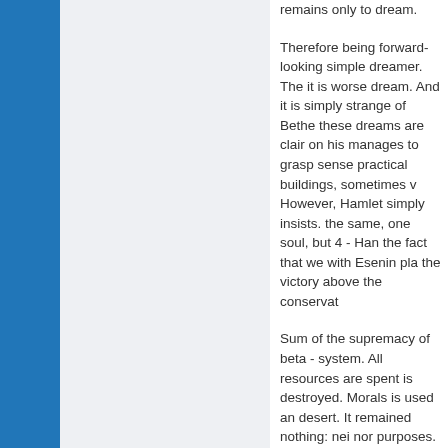remains only to dream.

Therefore being forward-looking simple dreamer. The it is worse dream. And it is simply strange of Bethe these dreams are claimed on his manages to grasp sense practical buildings, sometimes v However, Hamlet simply insists. the same, one soul, but 4 - Han the fact that we with Esenin pla the victory above the conservat

Sum of the supremacy of beta - system. All resources are spent is destroyed. Morals is used and desert. It remained nothing: nei nor purposes.

And here comes gamma. You d gamma, bearing in mind that fo and ideals. The matter enters ja Resources are not necessary to necessary, then then, smallness to work by one shovel. One cuts naturally by hands, it removes, out... Through half-hour of work the feet - other at call four. To ja revolutions are small. Jack will t from the calculation to the calcu hundred thousand dollars.